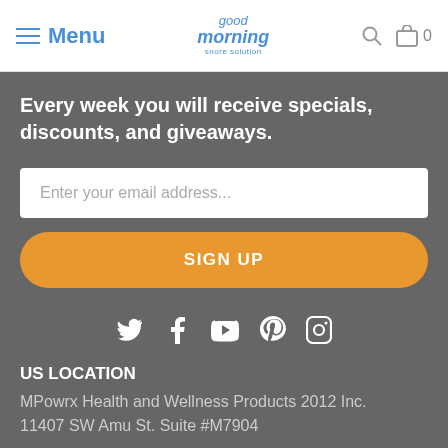Menu | good morning snore solution | 0
Every week you will receive specials, discounts, and giveaways.
Enter your email address...
SIGN UP
[Figure (infographic): Social media icons: Twitter, Facebook, YouTube, Pinterest, Instagram]
US LOCATION
MPowrx Health and Wellness Products 2012 Inc. 11407 SW Amu St. Suite #M7904